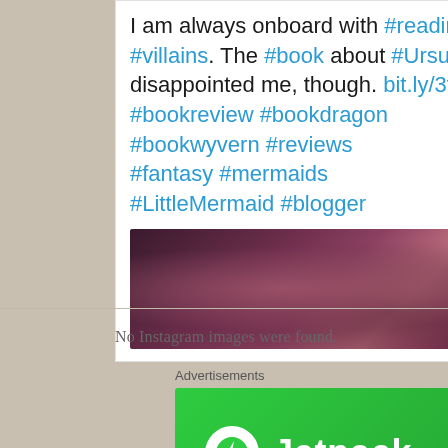I am always onboard with #reading about the #villains. The #book about #Ursula really disappointed me, though. bit.ly/3tbz0C3 #bookreview #bookdragon #bookwyvern #reviews #fantasy #mermaids #LittleMermaid #blogger
[Figure (photo): Dark fantasy/book cover image with purple and red tones showing elaborate figures]
No Instagram images were found.
Advertisements
[Figure (logo): Jetpack advertisement banner with green background, circular logo with lightning bolt, and Jetpack text]